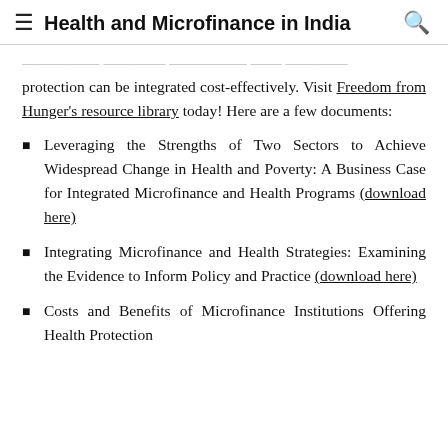Health and Microfinance in India
...efforts to show how microfinance and health protection can be integrated cost-effectively. Visit Freedom from Hunger's resource library today! Here are a few documents:
Leveraging the Strengths of Two Sectors to Achieve Widespread Change in Health and Poverty: A Business Case for Integrated Microfinance and Health Programs (download here)
Integrating Microfinance and Health Strategies: Examining the Evidence to Inform Policy and Practice (download here)
Costs and Benefits of Microfinance Institutions Offering Health Protection